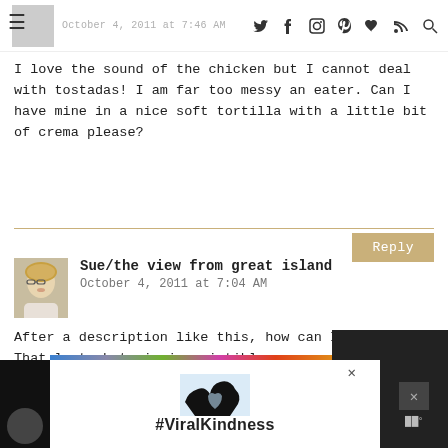October 4, 2011 at 7:46 AM
I love the sound of the chicken but I cannot deal with tostadas! I am far too messy an eater. Can I have mine in a nice soft tortilla with a little bit of crema please?
Reply
Sue/the view from great island
October 4, 2011 at 7:04 AM
After a description like this, how can I refuse? That last photo is irresistible.
Reply
#ViralKindness